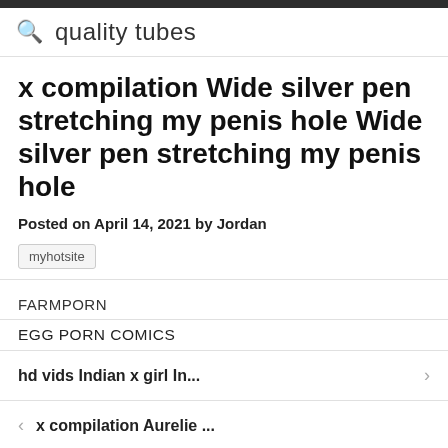quality tubes
x compilation Wide silver pen stretching my penis hole Wide silver pen stretching my penis hole
Posted on April 14, 2021 by Jordan
myhotsite
FARMPORN
EGG PORN COMICS
hd vids Indian x girl In...
x compilation Aurelie ...